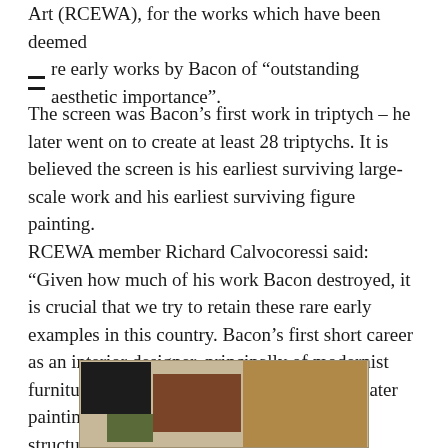Art (RCEWA), for the works which have been deemed are early works by Bacon of "outstanding aesthetic importance".
The screen was Bacon's first work in triptych – he later went on to create at least 28 triptychs. It is believed the screen is his earliest surviving large-scale work and his earliest surviving figure painting.
RCEWA member Richard Calvocoressi said: "Given how much of his work Bacon destroyed, it is crucial that we try to retain these rare early examples in this country. Bacon's first short career as an interior designer, principally of modernist furniture and rugs, informed so much of his later painting – not least his feeling for space and structure."
[Figure (photo): Partial view of an artwork showing geometric blocks of color including dark brown/black, brown, tan, and green sections against a light background, appearing to be a folding screen painting.]